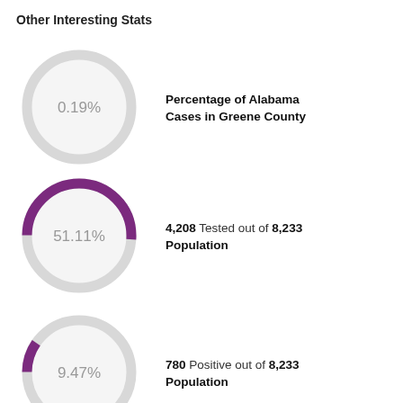Other Interesting Stats
[Figure (donut-chart): Percentage of Alabama Cases in Greene County]
Percentage of Alabama Cases in Greene County
[Figure (donut-chart): 4,208 Tested out of 8,233 Population]
4,208 Tested out of 8,233 Population
[Figure (donut-chart): 780 Positive out of 8,233 Population]
780 Positive out of 8,233 Population